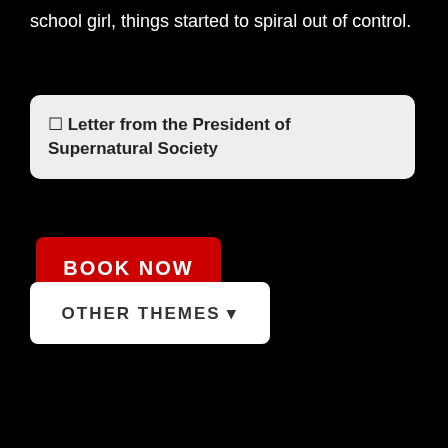school girl, things started to spiral out of control.
☐ Letter from the President of Supernatural Society
BOOK NOW
OTHER THEMES ▾